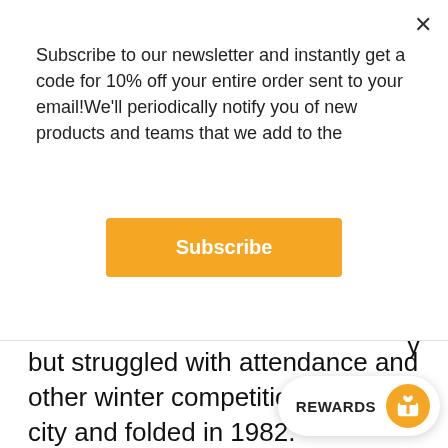Subscribe to our newsletter and instantly get a code for 10% off your entire order sent to your email!We'll periodically notify you of new products and teams that we add to the
Subscribe
but struggled with attendance and other winter competition in the city and folded in 1982.
This would make a unique gift for the soccer fan in your life or a neat find for yourself of a vintage soccer team from Pennsylvania.
Free standard shipping, no minimum. Please note that we are a print-on-demand that we will create your produ your order learn more